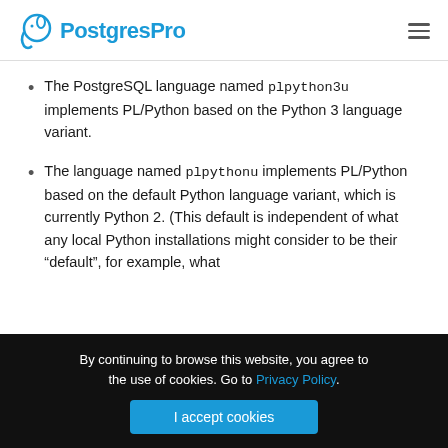PostgresPro
The PostgreSQL language named plpython3u implements PL/Python based on the Python 3 language variant.
The language named plpythonu implements PL/Python based on the default Python language variant, which is currently Python 2. (This default is independent of what any local Python installations might consider to be their “default”, for example, what
By continuing to browse this website, you agree to the use of cookies. Go to Privacy Policy.